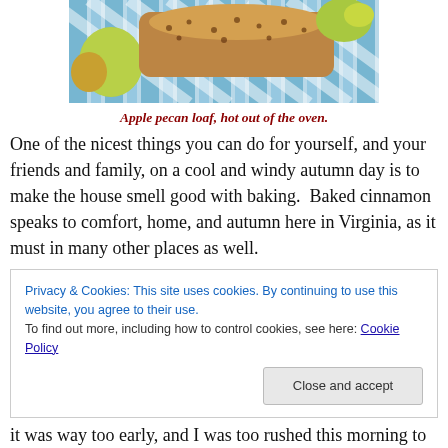[Figure (photo): Apple pecan loaf on a cooling rack with apples and colorful striped background fabric]
Apple pecan loaf, hot out of the oven.
One of the nicest things you can do for yourself, and your friends and family, on a cool and windy autumn day is to make the house smell good with baking.  Baked cinnamon speaks to comfort, home, and autumn here in Virginia, as it must in many other places as well.
Privacy & Cookies: This site uses cookies. By continuing to use this website, you agree to their use.
To find out more, including how to control cookies, see here: Cookie Policy
[Close and accept]
it was way too early, and I was too rushed this morning to